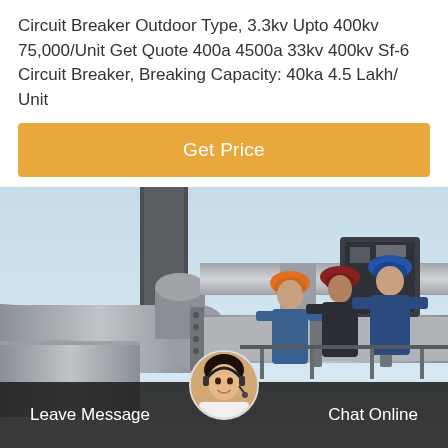Circuit Breaker Outdoor Type, 3.3kv Upto 400kv 75,000/Unit Get Quote 400a 4500a 33kv 400kv Sf-6 Circuit Breaker, Breaking Capacity: 40ka 4.5 Lakh/ Unit
[Figure (other): Orange 'Get Price' button bar]
[Figure (photo): Workers in hard hats (blue and orange) working on large industrial outdoor electrical pipes/equipment against a clear blue sky]
[Figure (other): Dark bottom chat bar with 'Leave Message' on left, customer service avatar in center, 'Chat Online' on right]